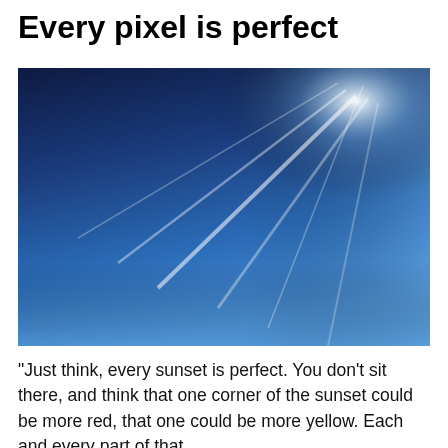Every pixel is perfect
[Figure (photo): A blue sky photograph showing a deep navy-to-bright-blue gradient. The upper-left area is dark navy blue, transitioning to a vivid cerulean blue in the lower portion. Bright white lens flare streaks radiate diagonally from the upper-right area, creating a sunburst effect against the blue sky.]
“Just think, every sunset is perfect. You don’t sit there, and think that one corner of the sunset could be more red, that one could be more yellow. Each and every part of that